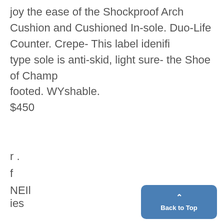joy the ease of the Shockproof Arch Cushion and Cushioned Insole. Duo-Life Counter. Crepe- This label idenifi type sole is anti-skid, light sure- the Shoe of Champ footed. WYshable. $450
r .
f
NEIl
ies